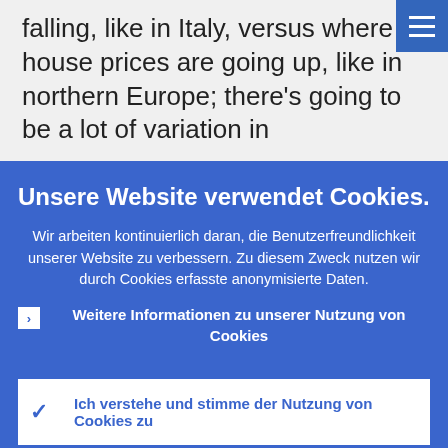falling, like in Italy, versus where house prices are going up, like in northern Europe; there's going to be a lot of variation in
Unsere Website verwendet Cookies.
Wir arbeiten kontinuierlich daran, die Benutzerfreundlichkeit unserer Website zu verbessern. Zu diesem Zweck nutzen wir durch Cookies erfasste anonymisierte Daten.
Weitere Informationen zu unserer Nutzung von Cookies
Ich verstehe und stimme der Nutzung von Cookies zu
Ich stimme der Nutzung von Cookies nicht zu